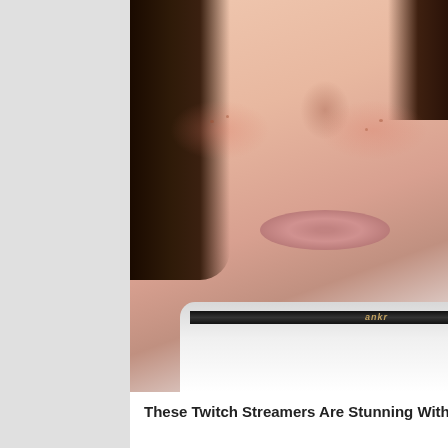[Figure (photo): Close-up photo of a woman's face and neck, showing her nose, cheeks with freckles/blush, lips, and dark hair. She is wearing a black choker necklace and a white collared shirt. The image is cropped showing mainly the lower half of the face and neck area.]
These Twitch Streamers Are Stunning Without Mak...
[Figure (photo): Thumbnail image of Pokemon Brilliant Diamond and Shining Pearl characters in a colorful outdoor setting with trees.]
« Previous
Pokemon Brilliant Diamond and Shining Pea...
What is Rapidash's Weakness?